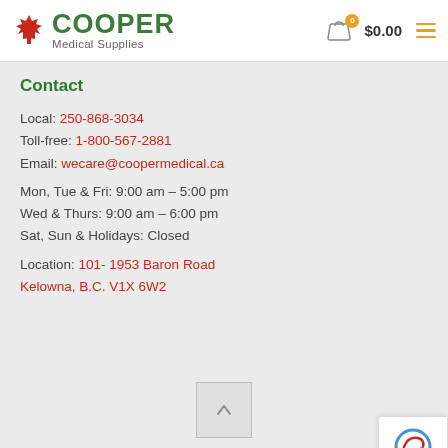[Figure (logo): Cooper Medical Supplies logo with maple leaf icon, green text 'COOPER' and subtitle 'Medical Supplies']
Contact
Local: 250-868-3034
Toll-free: 1-800-567-2881
Email: wecare@coopermedical.ca
Mon, Tue & Fri: 9:00 am - 5:00 pm
Wed & Thurs: 9:00 am - 6:00 pm
Sat, Sun & Holidays: Closed
Location: 101- 1953 Baron Road Kelowna, B.C. V1X 6W2
[Figure (other): Back to top button with upward chevron arrow]
© 2022 Cooper Medical Supplies. All Rights Reserved. Powered by buzz marketing